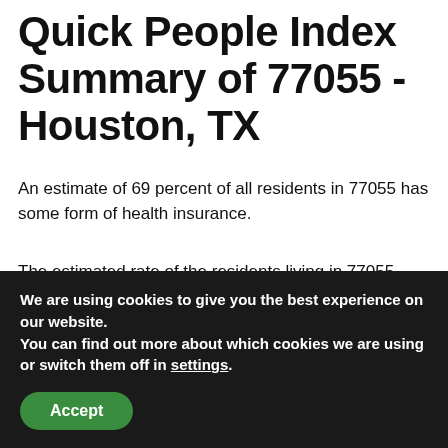Quick People Index Summary of 77055 - Houston, TX
An estimate of 69 percent of all residents in 77055 has some form of health insurance.
The estimated rate of the residents living in 77055 - Houston, TX who have health insurance is 69 percent. 18.9 percent of the residents use Medicaid. An estimate of 35 percent of the residents get their insurance through their
We are using cookies to give you the best experience on our website.
You can find out more about which cookies we are using or switch them off in settings.
[Accept]